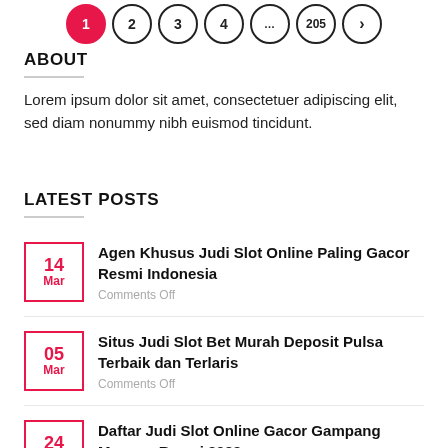[Figure (other): Pagination navigation with numbered circles: 1 (active, filled pink), 2, 3, 4, ..., 205, and a right arrow]
ABOUT
Lorem ipsum dolor sit amet, consectetuer adipiscing elit, sed diam nonummy nibh euismod tincidunt.
LATEST POSTS
14 Mar — Agen Khusus Judi Slot Online Paling Gacor Resmi Indonesia — Comments Off
05 Mar — Situs Judi Slot Bet Murah Deposit Pulsa Terbaik dan Terlaris — Comments Off
24 Jan — Daftar Judi Slot Online Gacor Gampang Menang Resmi 2022